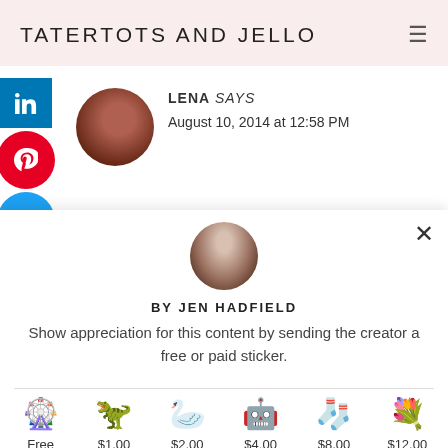TATERTOTS AND JELLO
LENA says
August 10, 2014 at 12:58 PM
BY JEN HADFIELD
Show appreciation for this content by sending the creator a free or paid sticker.
Free  $1.00  $2.00  $4.00  $8.00  $12.00